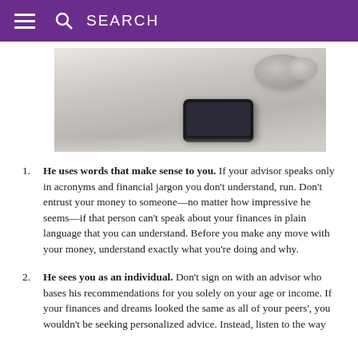SEARCH
[Figure (photo): A smartphone lying on a white surface with decorative bowls/plants in the background]
He uses words that make sense to you. If your advisor speaks only in acronyms and financial jargon you don’t understand, run. Don’t entrust your money to someone—no matter how impressive he seems—if that person can’t speak about your finances in plain language that you can understand. Before you make any move with your money, understand exactly what you’re doing and why.
He sees you as an individual. Don’t sign on with an advisor who bases his recommendations for you solely on your age or income. If your finances and dreams looked the same as all of your peers’, you wouldn’t be seeking personalized advice. Instead, listen to the way